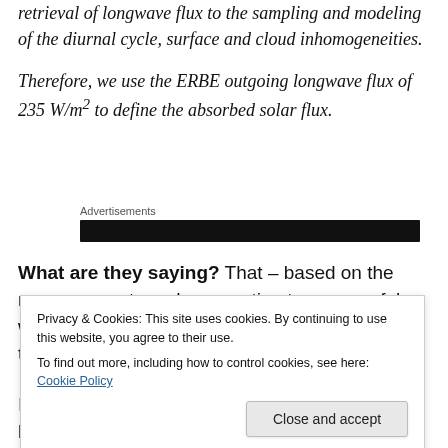retrieval of longwave flux to the sampling and modeling of the diurnal cycle, surface and cloud inhomogeneities.
Therefore, we use the ERBE outgoing longwave flux of 235 W/m² to define the absorbed solar flux.
[Figure (other): Advertisements banner with dark black bar]
What are they saying? That – based on the measurements and error estimates – a useful working assumption is that the earth (over this time period) is in
Privacy & Cookies: This site uses cookies. By continuing to use this website, you agree to their use.
To find out more, including how to control cookies, see here: Cookie Policy
If the absorbed solar radiation and the OLR had been say